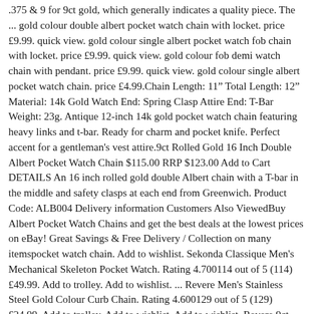.375 & 9 for 9ct gold, which generally indicates a quality piece. The ... gold colour double albert pocket watch chain with locket. price £9.99. quick view. gold colour single albert pocket watch fob chain with locket. price £9.99. quick view. gold colour fob demi watch chain with pendant. price £9.99. quick view. gold colour single albert pocket watch chain. price £4.99.Chain Length: 11" Total Length: 12" Material: 14k Gold Watch End: Spring Clasp Attire End: T-Bar Weight: 23g. Antique 12-inch 14k gold pocket watch chain featuring heavy links and t-bar. Ready for charm and pocket knife. Perfect accent for a gentleman's vest attire.9ct Rolled Gold 16 Inch Double Albert Pocket Watch Chain $115.00 RRP $123.00 Add to Cart DETAILS An 16 inch rolled gold double Albert chain with a T-bar in the middle and safety clasps at each end from Greenwich. Product Code: ALB004 Delivery information Customers Also ViewedBuy Albert Pocket Watch Chains and get the best deals at the lowest prices on eBay! Great Savings & Free Delivery / Collection on many itemspocket watch chain. Add to wishlist. Sekonda Classique Men's Mechanical Skeleton Pocket Watch. Rating 4.700114 out of 5 (114) £49.99. Add to trolley. Add to wishlist. ... Revere Men's Stainless Steel Gold Colour Curb Chain. Rating 4.600129 out of 5 (129) £24.99. Add to trolley. Add to wishlist. Add to wishlist. Revere 9ct Gold Prince of Wales ...Black Hematite Double Albert Pocket Watch Chain; Gotham Stainless Steel 14 Inch Pocket Watch Chain ... Desperado Gold Tone Pocket Watch Chain; Desperado Chrome Plated Pocket Watch Chain; Double PCB-W 14" Silver Tone Pocket Watch Chain